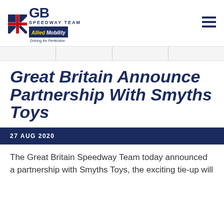[Figure (logo): GB Speedway Team Allied Mobility 'Driving for Perfection' logo with Union Jack flag graphic]
Great Britain Announce Partnership With Smyths Toys
27 AUG 2020
The Great Britain Speedway Team today announced a partnership with Smyths Toys, the exciting tie-up will